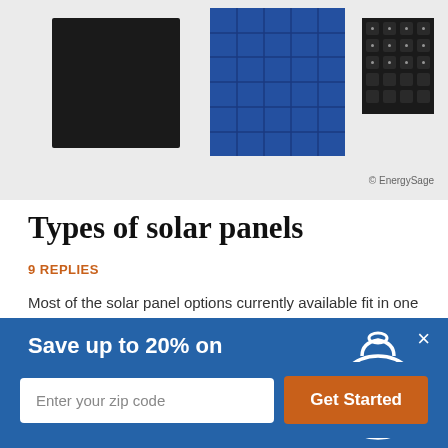[Figure (illustration): Three types of solar panels shown side by side: monocrystalline (black panel), polycrystalline (blue grid panel), and thin-film (dark dotted panel). EnergySage copyright watermark in bottom right.]
Types of solar panels
9 REPLIES
Most of the solar panel options currently available fit in one
[Figure (infographic): Blue promotional modal overlay with close button (×). Headline: 'Save up to 20% on solar panels'. Subtext: 'Register for free to start comparing quotes'. Money bag icon with dollar sign on the right side. Input field 'Enter your zip code' and orange 'Get Started' button at the bottom.]